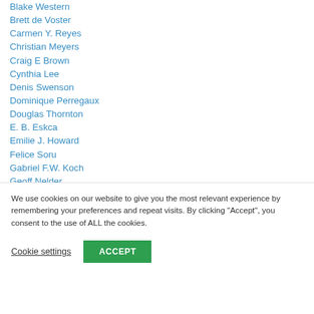Blake Western
Brett de Voster
Carmen Y. Reyes
Christian Meyers
Craig E Brown
Cynthia Lee
Denis Swenson
Dominique Perregaux
Douglas Thornton
E. B. Eskca
Emilie J. Howard
Felice Soru
Gabriel F.W. Koch
Geoff Nelder
Grant Dykeman
Kim Duckworth
Kirk Aurandt
Kyle David Iverson
Lee Hutchins
Leibny Hope
Lisa Anderson
Marcy Heath Robitaille
Mary D. Brooks
Maureen Katarama
Nadia Ross
Nicole Austin
Orion Gregory
Phil Harvey
Ramesh S Arunachalam
Ray Tabler
We use cookies on our website to give you the most relevant experience by remembering your preferences and repeat visits. By clicking "Accept", you consent to the use of ALL the cookies.
Cookie settings
ACCEPT